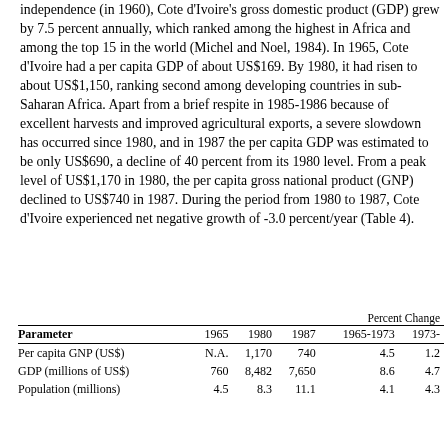independence (in 1960), Cote d'Ivoire's gross domestic product (GDP) grew by 7.5 percent annually, which ranked among the highest in Africa and among the top 15 in the world (Michel and Noel, 1984). In 1965, Cote d'Ivoire had a per capita GDP of about US$169. By 1980, it had risen to about US$1,150, ranking second among developing countries in sub-Saharan Africa. Apart from a brief respite in 1985-1986 because of excellent harvests and improved agricultural exports, a severe slowdown has occurred since 1980, and in 1987 the per capita GDP was estimated to be only US$690, a decline of 40 percent from its 1980 level. From a peak level of US$1,170 in 1980, the per capita gross national product (GNP) declined to US$740 in 1987. During the period from 1980 to 1987, Cote d'Ivoire experienced net negative growth of -3.0 percent/year (Table 4).
| Parameter | 1965 | 1980 | 1987 | 1965-1973 | 1973- |
| --- | --- | --- | --- | --- | --- |
| Per capita GNP (US$) | N.A. | 1,170 | 740 | 4.5 | 1.2 |
| GDP (millions of US$) | 760 | 8,482 | 7,650 | 8.6 | 4.7 |
| Population (millions) | 4.5 | 8.3 | 11.1 | 4.1 | 4.3 |